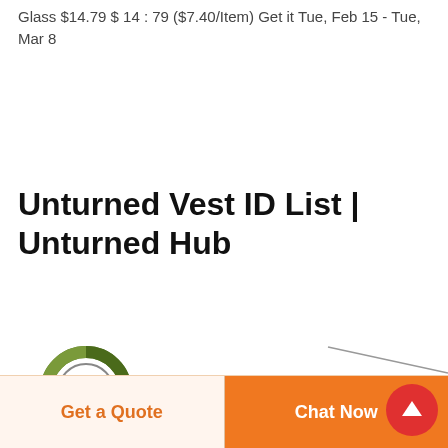Glass $14.79 $ 14 : 79 ($7.40/Item) Get it Tue, Feb 15 - Tue, Mar 8
Unturned Vest ID List | Unturned Hub
[Figure (logo): Circular camouflage-patterned logo with a red 'D' in the center, above partially visible red text 'DEFKON']
Get a Quote
Chat Now